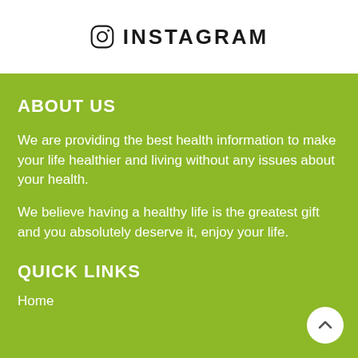INSTAGRAM
ABOUT US
We are providing the best health information to make your life healthier and living without any issues about your health.
We believe having a healthy life is the greatest gift and you absolutely deserve it, enjoy your life.
QUICK LINKS
Home